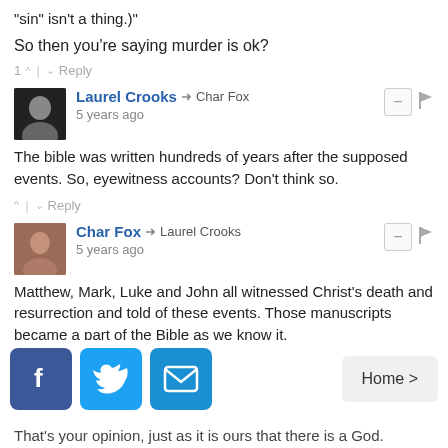"sin" isn't a thing.)"
So then you're saying murder is ok?
1 ^ | v Reply
Laurel Crooks → Char Fox
5 years ago
The bible was written hundreds of years after the supposed events. So, eyewitness accounts? Don't think so.
^ | v Reply
Char Fox → Laurel Crooks
5 years ago
Matthew, Mark, Luke and John all witnessed Christ's death and resurrection and told of these events. Those manuscripts became a part of the Bible as we know it.
2 ^ | v Reply
That's your opinion, just as it is ours that there is a God.